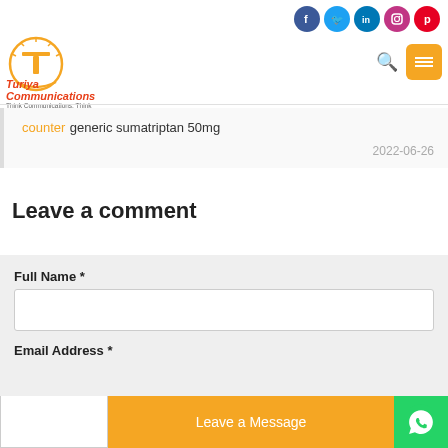[Figure (logo): Turiya Communications logo with orange circular emblem and red italic text 'Turiya Communications', tagline 'Think Communications, Think Turiya']
[Figure (infographic): Row of social media icons: Facebook (dark blue), Twitter (light blue), LinkedIn (blue), Instagram (pink/purple), Pinterest (red)]
counter generic sumatriptan 50mg
2022-06-26
Leave a comment
Full Name *
Email Address *
Leave a Message